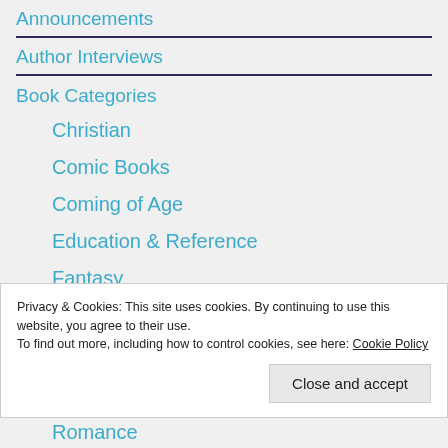Announcements
Author Interviews
Book Categories
Christian
Comic Books
Coming of Age
Education & Reference
Fantasy
Fiction
Privacy & Cookies: This site uses cookies. By continuing to use this website, you agree to their use.
To find out more, including how to control cookies, see here: Cookie Policy
Close and accept
Romance